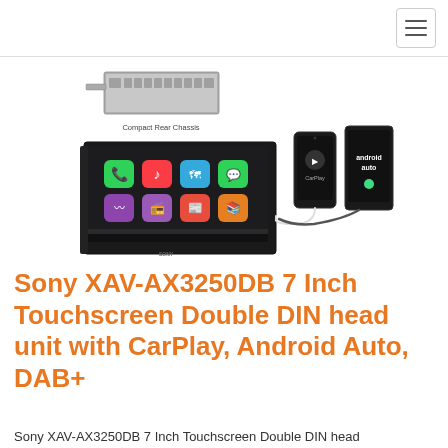[Figure (photo): Sony XAV-AX3250DB car head unit with a 7-inch touchscreen showing Apple CarPlay interface with app icons. Next to it are two smartphones, one showing the CarPlay logo and one showing Android Auto logo. Above the unit is a compact rear chassis component labeled 'Compact Rear Chassis'.]
Sony XAV-AX3250DB 7 Inch Touchscreen Double DIN head unit with CarPlay, Android Auto, DAB+
Sony XAV-AX3250DB 7 Inch Touchscreen Double DIN head